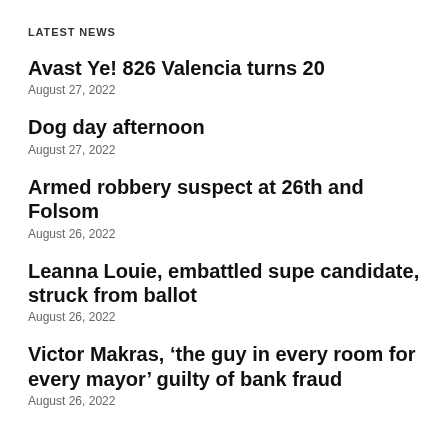LATEST NEWS
Avast Ye! 826 Valencia turns 20
August 27, 2022
Dog day afternoon
August 27, 2022
Armed robbery suspect at 26th and Folsom
August 26, 2022
Leanna Louie, embattled supe candidate, struck from ballot
August 26, 2022
Victor Makras, ‘the guy in every room for every mayor’ guilty of bank fraud
August 26, 2022